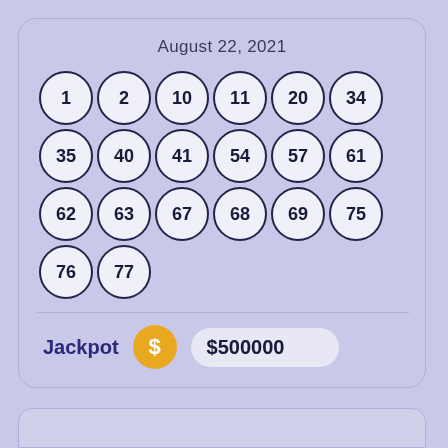August 22, 2021
[Figure (infographic): Lottery ticket showing 20 numbered balls arranged in 4 rows: Row 1: 1, 2, 10, 11, 20, 34; Row 2: 35, 40, 41, 54, 57, 61; Row 3: 62, 63, 67, 68, 69, 75; Row 4: 76, 77]
Jackpot   $500000